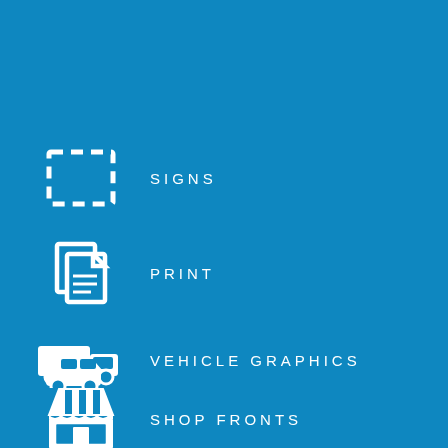SIGNS
PRINT
VEHICLE GRAPHICS
SHOP FRONTS